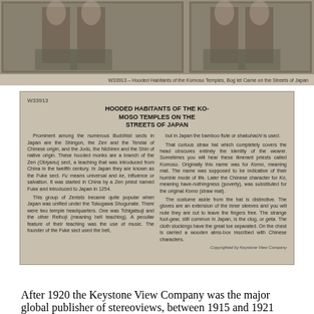[Figure (photo): Stereoview photograph showing hooded Buddhist monks (Komoso) on the streets of Japan, presented as a dual stereoscopic image pair with a caption below reading 'W33913 – Hooded Habitants of the Komoso Temples, Bog let Came on the Streets of Japan']
[Figure (photo): Back side of the stereoview card W33913 titled 'HOODED HABITANTS OF THE KOMOSO TEMPLES ON THE STREETS OF JAPAN' with two columns of explanatory text about Buddhist sects in Japan and the Komoso monks, their costume, and customs. Published by Keystone View Company.]
After 1920 the Keystone View Company was the major global publisher of stereoviews, between 1915 and 1921 they had bought the negatives of nearly all of their competitors. With offices all over the world at this time the company was successful, especially from the sales of World War t...